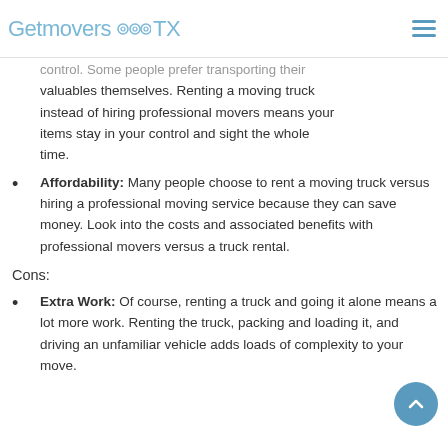GetmoversTX
control. Some people prefer transporting their valuables themselves. Renting a moving truck instead of hiring professional movers means your items stay in your control and sight the whole time.
Affordability: Many people choose to rent a moving truck versus hiring a professional moving service because they can save money. Look into the costs and associated benefits with professional movers versus a truck rental.
Cons:
Extra Work: Of course, renting a truck and going it alone means a lot more work. Renting the truck, packing and loading it, and driving an unfamiliar vehicle adds loads of complexity to your move.